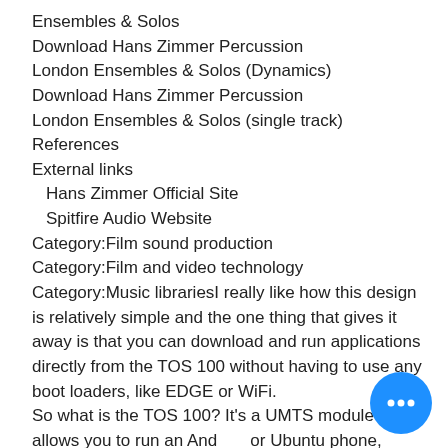Ensembles & Solos
Download Hans Zimmer Percussion London Ensembles & Solos (Dynamics)
Download Hans Zimmer Percussion London Ensembles & Solos (single track)
References
External links
Hans Zimmer Official Site
Spitfire Audio Website
Category:Film sound production
Category:Film and video technology
Category:Music librariesI really like how this design is relatively simple and the one thing that gives it away is that you can download and run applications directly from the TOS 100 without having to use any boot loaders, like EDGE or WiFi.
So what is the TOS 100? It's a UMTS module that allows you to run an Android or Ubuntu phone, running on a quad core